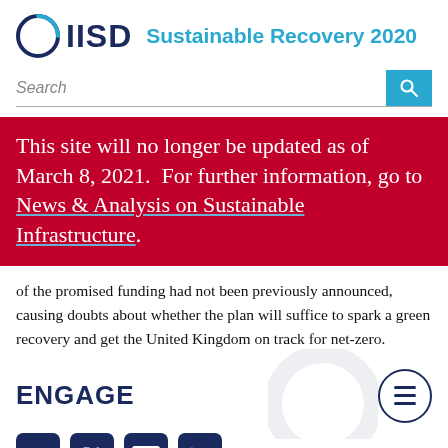IISD Sustainable Recovery 2020
Search
This site will no longer be updated as of March 8, 2021. For further information, go to News & Analysis on Sustainable Infrastructure.
of the promised funding had not been previously announced, causing doubts about whether the plan will suffice to spark a green recovery and get the United Kingdom on track for net-zero.
ENGAGE